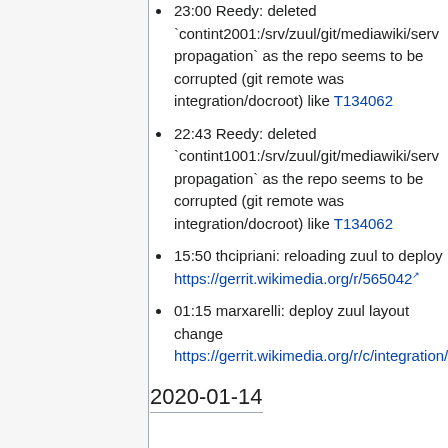23:00 Reedy: deleted `contint2001:/srv/zuul/git/mediawiki/serv propagation` as the repo seems to be corrupted (git remote was integration/docroot) like T134062
22:43 Reedy: deleted `contint1001:/srv/zuul/git/mediawiki/serv propagation` as the repo seems to be corrupted (git remote was integration/docroot) like T134062
15:50 thcipriani: reloading zuul to deploy https://gerrit.wikimedia.org/r/565042
01:15 marxarelli: deploy zuul layout change https://gerrit.wikimedia.org/r/c/integration/config/+/564813
2020-01-14